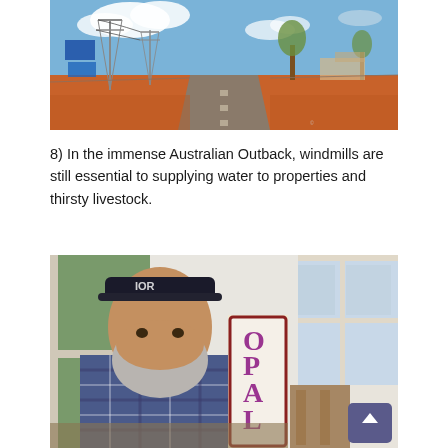[Figure (photo): Outback Australian road scene with electricity pylons, dry red earth, sparse trees, blue sky with clouds, and flat-roofed buildings in the distance.]
8) In the immense Australian Outback, windmills are still essential to supplying water to properties and thirsty livestock.
[Figure (photo): A bearded man wearing a dark bucket hat with 'IOR' logo sits at a table outdoors near a white building. Behind him is a vertical sign reading 'OPAL'. He wears a plaid flannel shirt. A scroll-to-top button appears in the bottom right corner.]